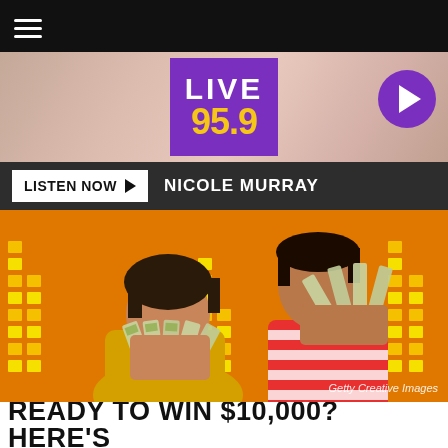[Figure (screenshot): Live 95.9 radio station website screenshot showing header with logo, navigation bar with LISTEN NOW button and NICOLE MURRAY text, a hero image of two people holding up fans of dollar bills against an orange background with equalizer bar graphics, a Getty Creative Images credit, and a headline at the bottom reading READY TO WIN $10,000? HERE'S]
READY TO WIN $10,000? HERE'S